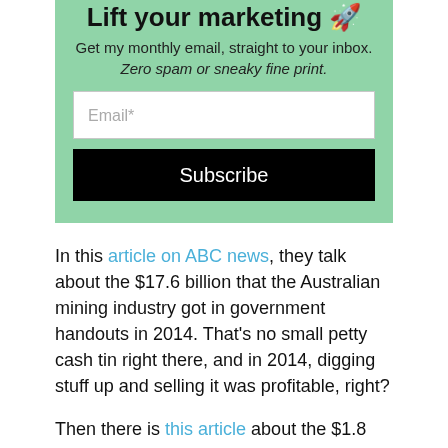Lift your marketing 🚀
Get my monthly email, straight to your inbox.
Zero spam or sneaky fine print.
Email*
Subscribe
In this article on ABC news, they talk about the $17.6 billion that the Australian mining industry got in government handouts in 2014. That's no small petty cash tin right there, and in 2014, digging stuff up and selling it was profitable, right?
Then there is this article about the $1.8 billion in coal production subsidies. Surely if selling coal isn't profitable, all these existing businesses should